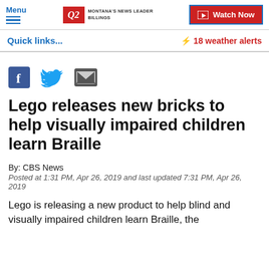Menu | Q2 Montana's News Leader Billings | Watch Now
Quick links... | ⚡ 18 weather alerts
[Figure (infographic): Social sharing icons: Facebook, Twitter, Email]
Lego releases new bricks to help visually impaired children learn Braille
By: CBS News
Posted at 1:31 PM, Apr 26, 2019 and last updated 7:31 PM, Apr 26, 2019
Lego is releasing a new product to help blind and visually impaired children learn Braille, the